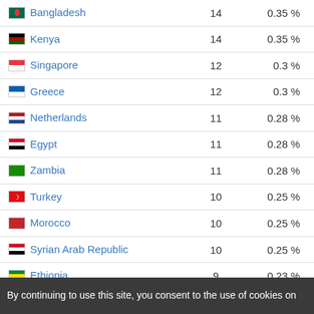| Country | Count | Percentage |
| --- | --- | --- |
| Bangladesh | 14 | 0.35 % |
| Kenya | 14 | 0.35 % |
| Singapore | 12 | 0.3 % |
| Greece | 12 | 0.3 % |
| Netherlands | 11 | 0.28 % |
| Egypt | 11 | 0.28 % |
| Zambia | 11 | 0.28 % |
| Turkey | 10 | 0.25 % |
| Morocco | 10 | 0.25 % |
| Syrian Arab Republic | 10 | 0.25 % |
| Ethiopia | 9 | 0.23 % |
| Italy | 9 | 0.23 % |
| Ecuador | 8 | 0.2 % |
By continuing to use this site, you consent to the use of cookies on